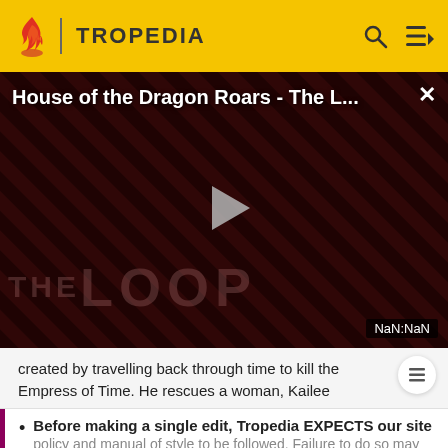TROPEDIA
[Figure (screenshot): Video thumbnail for 'House of the Dragon Roars - The L...' with diagonal red/dark stripe pattern, two figures in shadow, play button in center, and 'THE LOOP' watermark. Timestamp shows NaN:NaN.]
created by travelling back through time to kill the Empress of Time. He rescues a woman, Kailee
Before making a single edit, Tropedia EXPECTS our site policy and manual of style to be followed. Failure to do so may
READ MORE